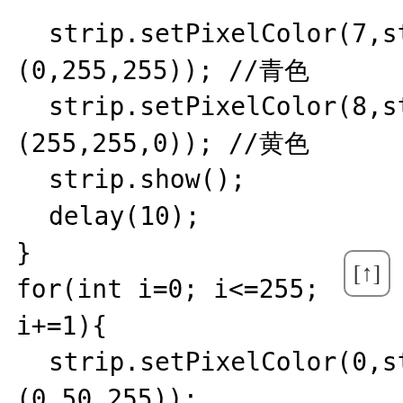strip.setPixelColor(7,strip.Color(0,255,255)); //青色
  strip.setPixelColor(8,strip.Color(255,255,0)); //黄色
  strip.show(); delay(10);
}
for(int i=0; i<=255; i+=1){
  strip.setPixelColor(0,strip.Color(0,50,255));
  strip.setPixelColor(1,strip.Color